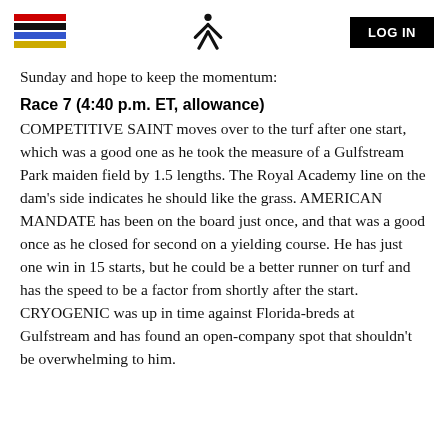LOG IN
Sunday and hope to keep the momentum:
Race 7 (4:40 p.m. ET, allowance)
COMPETITIVE SAINT moves over to the turf after one start, which was a good one as he took the measure of a Gulfstream Park maiden field by 1.5 lengths. The Royal Academy line on the dam's side indicates he should like the grass. AMERICAN MANDATE has been on the board just once, and that was a good once as he closed for second on a yielding course. He has just one win in 15 starts, but he could be a better runner on turf and has the speed to be a factor from shortly after the start. CRYOGENIC was up in time against Florida-breds at Gulfstream and has found an open-company spot that shouldn't be overwhelming to him.